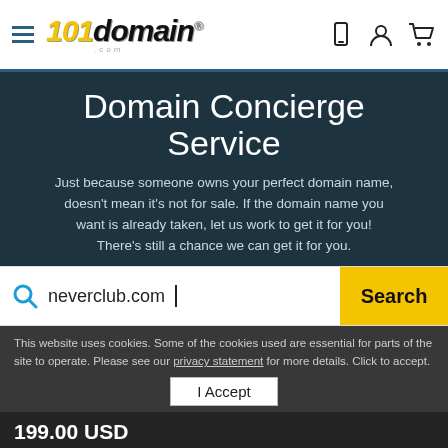101domain.com
Domain Concierge Service
Just because someone owns your perfect domain name, doesn't mean it's not for sale. If the domain name you want is already taken, let us work to get it for you! There's still a chance we can get it for you.
neverclub.com [Search]
This website uses cookies. Some of the cookies used are essential for parts of the site to operate. Please see our privacy statement for more details. Click to accept.
I Accept
199.00 USD